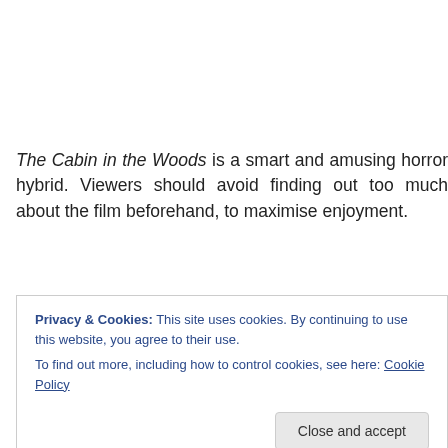The Cabin in the Woods is a smart and amusing horror hybrid. Viewers should avoid finding out too much about the film beforehand, to maximise enjoyment.
Dana and Jules are college students looking forward to a break away. Along with fellow students Curt, Steve and
Privacy & Cookies: This site uses cookies. By continuing to use this website, you agree to their use.
To find out more, including how to control cookies, see here: Cookie Policy
away significant spoilers. It is easy to see the